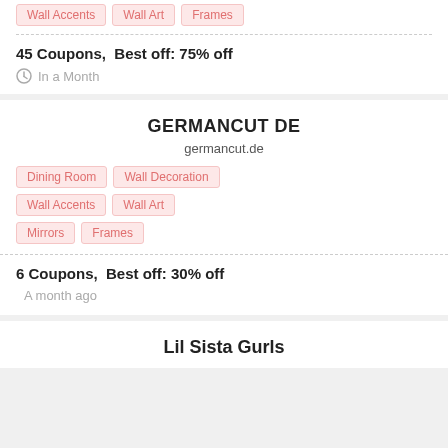Wall Accents, Wall Art, Frames
45 Coupons,  Best off: 75% off
In a Month
GERMANCUT DE
germancut.de
Dining Room
Wall Decoration
Wall Accents
Wall Art
Mirrors
Frames
6 Coupons,  Best off: 30% off
A month ago
Lil Sista Gurls